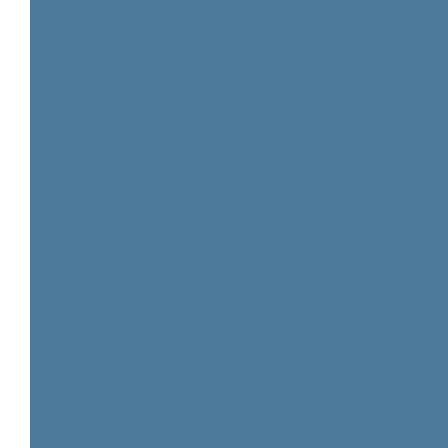Rabbi Rosenberg is no longer here his w... decision, he still hears Rabbi Rosenberg... here?
Even those who initially resisted his advi... niggling under the skin. Suddenly six mo... acknowledging, "Rabbi Rosenberg was r...
He taught his talmidim that most questio... the form "Why does Rashi or Tosafos sa... products of the yetzer designed to deflec... and answer sessions, he refused to answ... the questioner had to acknowledge what... information sought was relevant to his lif...
He was a master psychologist, who, on c... single conversation. A young man came ... his back. Rabbi Rosenberg asked him w... man replied that he thought it was beaut... told him.
After a little more sparring, the young ma... rebellion. "I'm also rebelling," Rabbi Ros... sheker and falsehood. Come with me, a... hair."
The young man did.
Rabbi Rosenberg was an ish emes. As R... "He never swerved from his emes, whet...